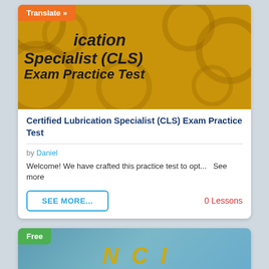[Figure (photo): Course thumbnail image showing gears background with bold text reading 'lubrication Specialist (CLS) Exam Practice Test' on a golden/yellow background. Orange 'Translate »' badge in top left.]
Certified Lubrication Specialist (CLS) Exam Practice Test
by Daniel
Welcome! We have crafted this practice test to opt...  See more
SEE MORE...
0 Lessons
[Figure (photo): Partial view of a second course card with blue/teal background. Green 'Free' badge in top left corner. Partial yellow text visible at bottom.]